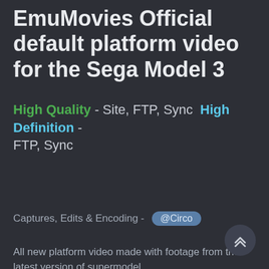EmuMovies Official default platform video for the Sega Model 3
High Quality - Site, FTP, Sync  High Definition - FTP, Sync
Captures, Edits & Encoding - @Circo
All new platform video made with footage from the latest version of supermodel.